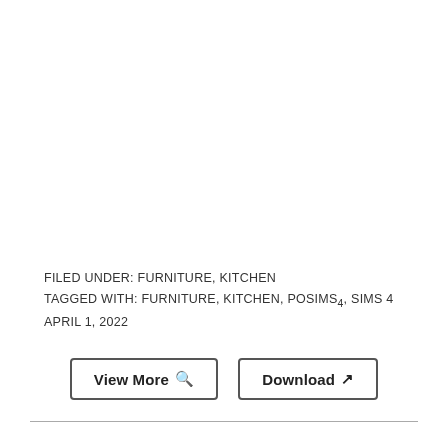FILED UNDER: FURNITURE, KITCHEN
TAGGED WITH: FURNITURE, KITCHEN, POSIMS4, SIMS 4
APRIL 1, 2022
View More 🔍
Download ↗